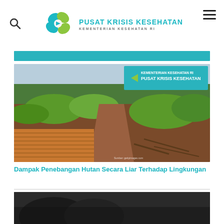Pusat Krisis Kesehatan Kementerian Kesehatan RI
[Figure (photo): Deforestation scene showing cut timber logs in foreground and cleared forest land with green vegetation in background, with Pusat Krisis Kesehatan logo overlay in top right corner]
Dampak Penebangan Hutan Secara Liar Terhadap Lingkungan
[Figure (photo): Partial view of a second article image at the bottom of the page, dark toned photo]